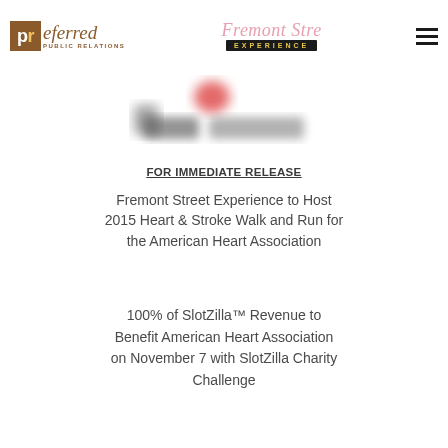[Figure (logo): Preferred Public Relations logo — brown square with 'pr' in white and gold, followed by 'eferred' in brown italic serif, 'PUBLIC RELATIONS' in small caps below]
[Figure (logo): Fremont Street Experience logo — pink cursive text 'Fremont Street Experience' above a dark banner with yellow 'EXPERIENCE' text]
[Figure (logo): Blurred/redacted logo image in center of page]
FOR IMMEDIATE RELEASE
Fremont Street Experience to Host 2015 Heart & Stroke Walk and Run for the American Heart Association
100% of SlotZilla™ Revenue to Benefit American Heart Association on November 7 with SlotZilla Charity Challenge